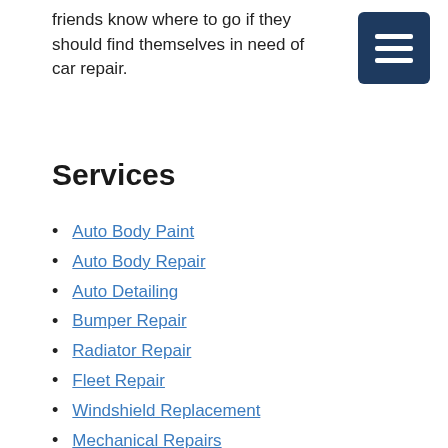friends know where to go if they should find themselves in need of car repair.
[Figure (other): Dark navy blue hamburger menu icon button with three horizontal white lines on a rounded square background]
Services
Auto Body Paint
Auto Body Repair
Auto Detailing
Bumper Repair
Radiator Repair
Fleet Repair
Windshield Replacement
Mechanical Repairs
Motorcycle Repair
Paintless Dent Repair
Body Shop Insurance Work